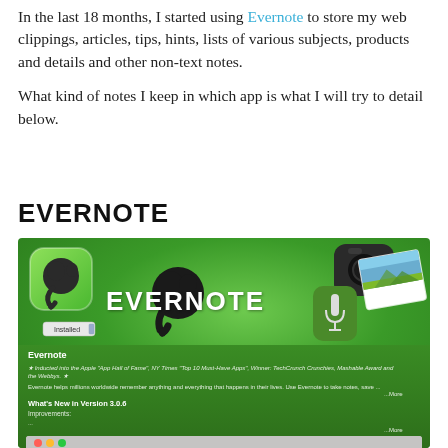In the last 18 months, I started using Evernote to store my web clippings, articles, tips, hints, lists of various subjects, products and details and other non-text notes.
What kind of notes I keep in which app is what I will try to detail below.
EVERNOTE
[Figure (screenshot): Screenshot of Evernote Mac App Store page showing the Evernote logo with elephant icons, camera icon, microphone icon, photo card, EVERNOTE text, Installed button, app description text including star ratings and What's New in Version 3.0.6 section, and a sub-screenshot of the Evernote desktop application.]